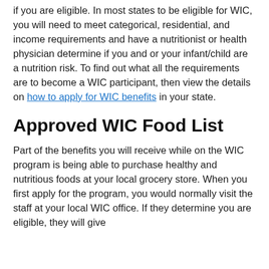if you are eligible. In most states to be eligible for WIC, you will need to meet categorical, residential, and income requirements and have a nutritionist or health physician determine if you and or your infant/child are a nutrition risk. To find out what all the requirements are to become a WIC participant, then view the details on how to apply for WIC benefits in your state.
Approved WIC Food List
Part of the benefits you will receive while on the WIC program is being able to purchase healthy and nutritious foods at your local grocery store. When you first apply for the program, you would normally visit the staff at your local WIC office. If they determine you are eligible, they will give